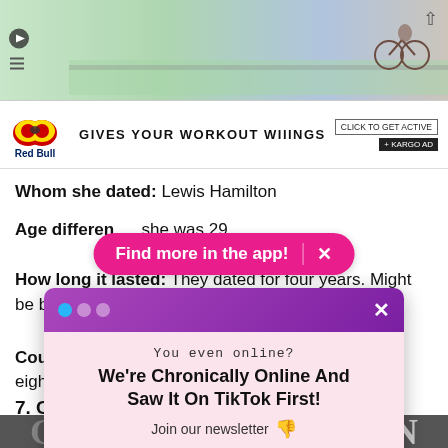[Figure (screenshot): Top advertisement banner with cycling/outdoor scene graphic]
[Figure (screenshot): Red Bull advertisement banner: 'GIVES YOUR WORKOUT WIIINGS' with Click to Get Active CTA and Kargo Ad label]
Whom she dated: Lewis Hamilton
Age difference: she was 29.
How long it lasted: They dated for four years. Might be back
Cougar o, was eight ye
[Figure (screenshot): Pink pill-shaped app promotion banner: 'Find more in the app! X']
[Figure (screenshot): Newsletter signup modal with purple header, dots, close button. Title: 'You even online? We\'re Chronically Online And Saw It On TikTok First! Join our newsletter' with email input, Sign Me Up button, and No Thanks link]
7. Cou
[Figure (photo): Partial photo at bottom showing letters 'G' and 'N']